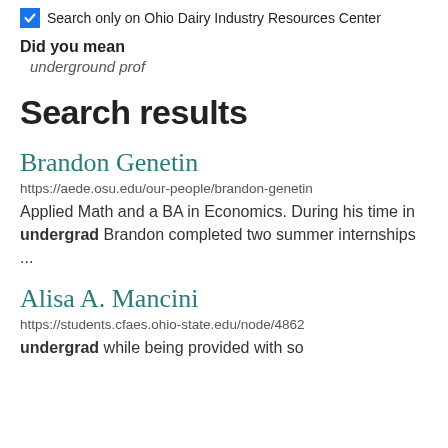Search only on Ohio Dairy Industry Resources Center
Did you mean
underground prof
Search results
Brandon Genetin
https://aede.osu.edu/our-people/brandon-genetin
Applied Math and a BA in Economics. During his time in undergrad Brandon completed two summer internships ...
Alisa A. Mancini
https://students.cfaes.ohio-state.edu/node/4862
undergrad while being provided with so